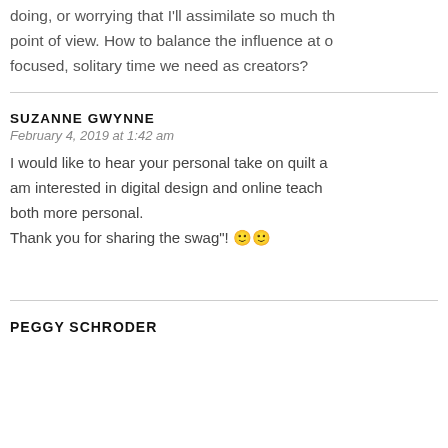doing, or worrying that I'll assimilate so much that I lose my own point of view. How to balance the influence at one side and the focused, solitary time we need as creators?
SUZANNE GWYNNE
February 4, 2019 at 1:42 am
I would like to hear your personal take on quilt … am interested in digital design and online teach… both more personal.
Thank you for sharing the swag"! 🙂🙂
PEGGY SCHRODER